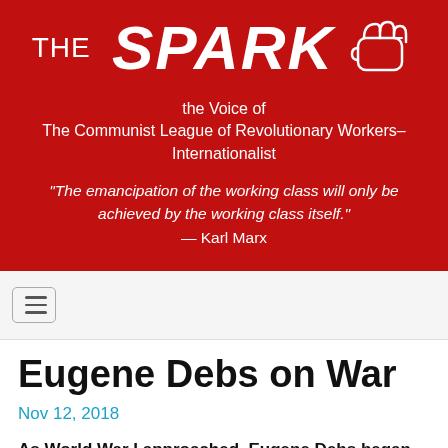[Figure (logo): The Spark newspaper logo on red background with raised fist icon, subtitle 'the Voice of The Communist League of Revolutionary Workers–Internationalist', and Karl Marx quote in italic white text]
Eugene Debs on War
Nov 12, 2018
As World War I approached, Eugene Debs began to denounce the growing pro-war propaganda in this